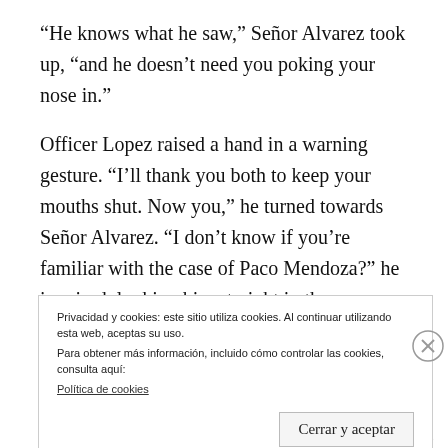“He knows what he saw,” Señor Alvarez took up, “and he doesn’t need you poking your nose in.”
Officer Lopez raised a hand in a warning gesture. “I’ll thank you both to keep your mouths shut. Now you,” he turned towards Señor Alvarez. “I don’t know if you’re familiar with the case of Paco Mendoza?” he inquired, looking him straight in the eye. Señor Alvarez
Privacidad y cookies: este sitio utiliza cookies. Al continuar utilizando esta web, aceptas su uso.
Para obtener más información, incluido cómo controlar las cookies, consulta aquí:
Política de cookies
Cerrar y aceptar